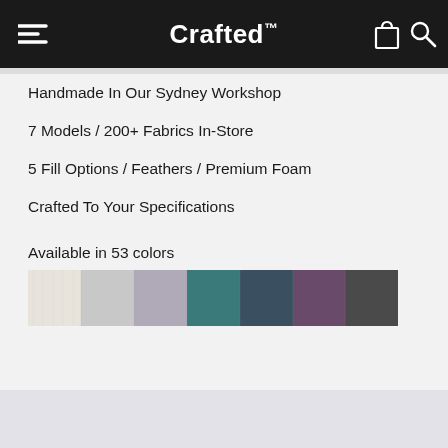Crafted™
Handmade In Our Sydney Workshop
7 Models / 200+ Fabrics In-Store
5 Fill Options / Feathers / Premium Foam
Crafted To Your Specifications
Available in 53 colors
[Figure (photo): Color swatches showing 7 fabric colors ranging from cream/ivory, light gray, medium gray, teal/dark teal, dark gray-blue, purple/mauve, and charcoal/dark gray]